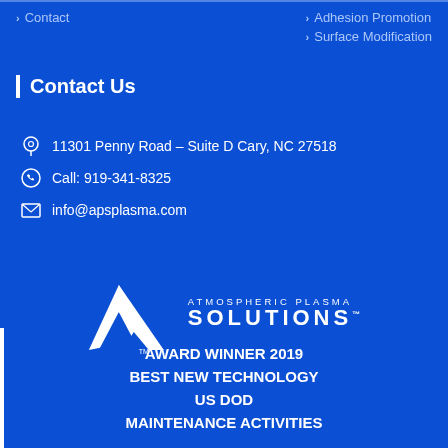> Contact
> Adhesion Promotion
> Surface Modification
Contact Us
11301 Penny Road – Suite D Cary, NC 27518
Call: 919-341-8325
info@apsplasma.com
[Figure (logo): Atmospheric Plasma Solutions logo with triangular mountain icon and text 'ATMOSPHERIC PLASMA SOLUTIONS™']
AWARD WINNER 2019
BEST NEW TECHNOLOGY
US DOD
MAINTENANCE ACTIVITIES